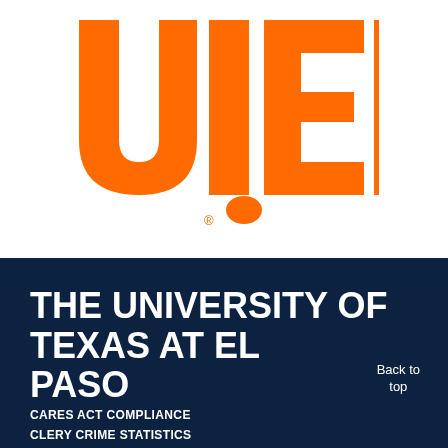[Figure (logo): UTEP logo — large orange block letters 'UTEP' on white background]
THE UNIVERSITY OF TEXAS AT EL PASO
Back to top
CARES ACT COMPLIANCE
CLERY CRIME STATISTICS